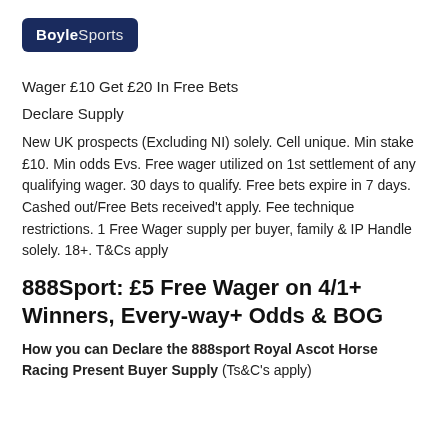[Figure (logo): BoyleSports logo — white text on dark navy/blue rounded rectangle background]
Wager £10 Get £20 In Free Bets
Declare Supply
New UK prospects (Excluding NI) solely. Cell unique. Min stake £10. Min odds Evs. Free wager utilized on 1st settlement of any qualifying wager. 30 days to qualify. Free bets expire in 7 days. Cashed out/Free Bets received't apply. Fee technique restrictions. 1 Free Wager supply per buyer, family & IP Handle solely. 18+. T&Cs apply
888Sport: £5 Free Wager on 4/1+ Winners, Every-way+ Odds & BOG
How you can Declare the 888sport Royal Ascot Horse Racing Present Buyer Supply (Ts&C's apply)